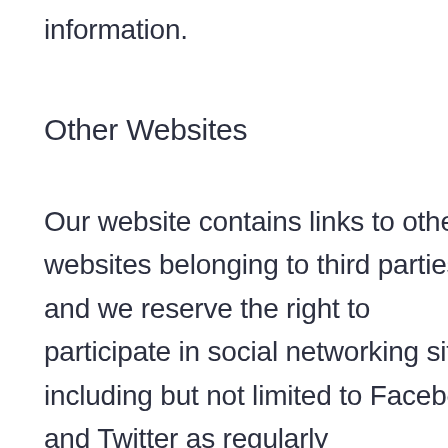information.
Other Websites
Our website contains links to other websites belonging to third parties and we reserve the right to participate in social networking sites including but not limited to Facebook and Twitter as regularly